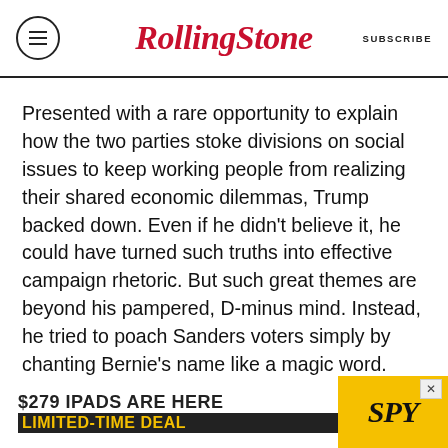Rolling Stone | SUBSCRIBE
Presented with a rare opportunity to explain how the two parties stoke divisions on social issues to keep working people from realizing their shared economic dilemmas, Trump backed down. Even if he didn't believe it, he could have turned such truths into effective campaign rhetoric. But such great themes are beyond his pampered, D-minus mind. Instead, he tried to poach Sanders voters simply by chanting Bernie's name like a magic word.
In the end, Trump's populism was as fake as everything else about him, and he emerged as
[Figure (other): Advertisement banner: $279 IPADS ARE HERE LIMITED-TIME DEAL with SPY logo on yellow background]